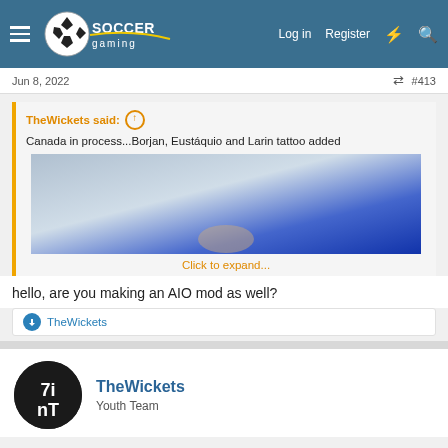Soccer Gaming forum header with logo, Log in, Register, and search icons
Jun 8, 2022   #413
TheWickets said: ↑

Canada in process...Borjan, Eustáquio and Larin tattoo added

Click to expand...
hello, are you making an AIO mod as well?
👍 TheWickets
TheWickets
Youth Team